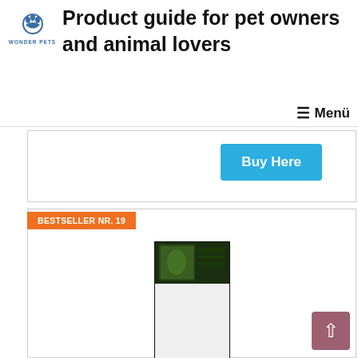Product guide for pet owners and animal lovers
[Figure (logo): Wonder Pets logo with paw icon and text WONDER PETS]
≡ Menü
[Figure (other): Buy Here button in blue]
BESTSELLER NR. 19
[Figure (photo): Product image: tall thin box/panel in black frame with Exo Terra label at top, white body]